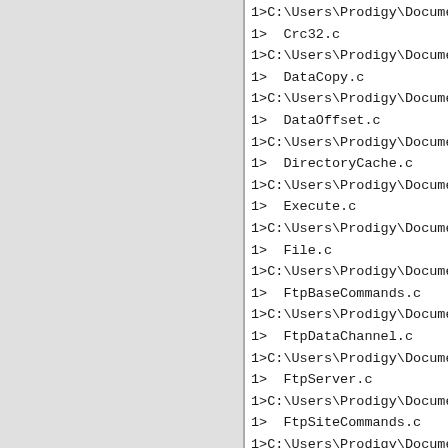1>C:\Users\Prodigy\Documen
1>  Crc32.c
1>C:\Users\Prodigy\Documen
1>  DataCopy.c
1>C:\Users\Prodigy\Documen
1>  DataOffset.c
1>C:\Users\Prodigy\Documen
1>  DirectoryCache.c
1>C:\Users\Prodigy\Documen
1>  Execute.c
1>C:\Users\Prodigy\Documen
1>  File.c
1>C:\Users\Prodigy\Documen
1>  FtpBaseCommands.c
1>C:\Users\Prodigy\Documen
1>  FtpDataChannel.c
1>C:\Users\Prodigy\Documen
1>  FtpServer.c
1>C:\Users\Prodigy\Documen
1>  FtpSiteCommands.c
1>C:\Users\Prodigy\Documen
1>  SomeFileModule